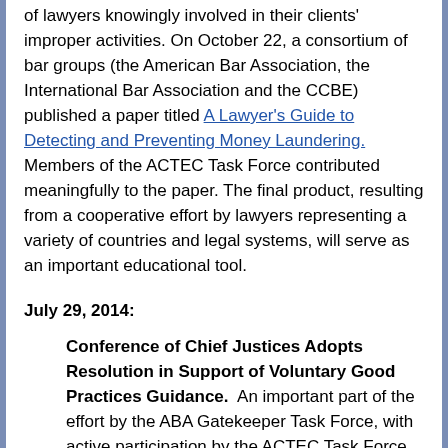of lawyers knowingly involved in their clients' improper activities. On October 22, a consortium of bar groups (the American Bar Association, the International Bar Association and the CCBE) published a paper titled A Lawyer's Guide to Detecting and Preventing Money Laundering. Members of the ACTEC Task Force contributed meaningfully to the paper. The final product, resulting from a cooperative effort by lawyers representing a variety of countries and legal systems, will serve as an important educational tool.
July 29, 2014:
Conference of Chief Justices Adopts Resolution in Support of Voluntary Good Practices Guidance. An important part of the effort by the ABA Gatekeeper Task Force, with active participation by the ACTEC Task Force, to engage with American lawyers in understanding FATF and the role of lawyers has been to seek the participation of other organized groups, Bench and Bar. The Conference of Chief Justices